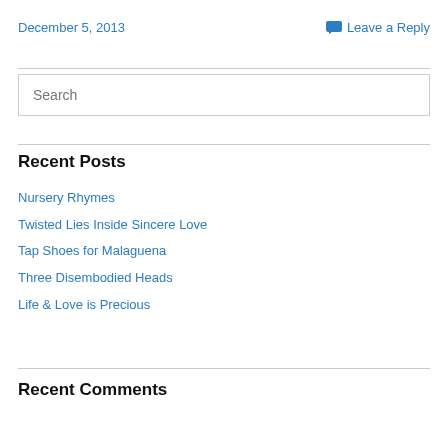December 5, 2013
Leave a Reply
Search
Recent Posts
Nursery Rhymes
Twisted Lies Inside Sincere Love
Tap Shoes for Malaguena
Three Disembodied Heads
Life & Love is Precious
Recent Comments